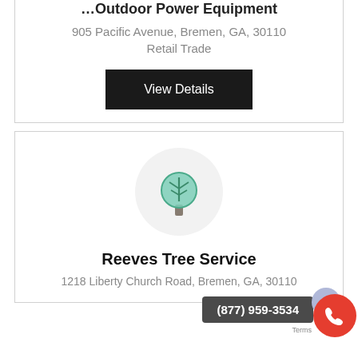... Outdoor Power Equipment
905 Pacific Avenue, Bremen, GA, 30110
Retail Trade
View Details
[Figure (logo): Tree service logo: green cartoon tree inside a light gray circle]
Reeves Tree Service
1218 Liberty Church Road, Bremen, GA, 30110
(877) 959-3534